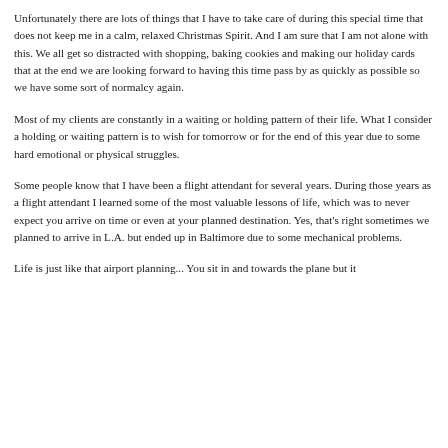Unfortunately there are lots of things that I have to take care of during this special time that does not keep me in a calm, relaxed Christmas Spirit.  And I am sure that I am not alone with this.  We all get so distracted with shopping, baking cookies and making our holiday cards that at the end we are looking forward to having this time pass by as quickly as possible so we have some sort of normalcy again.
Most of my clients are constantly in a waiting or holding pattern of their life. What I consider a holding or waiting pattern is to wish for tomorrow or for the end of this year due to some hard emotional or physical struggles.
Some people know that I have been a flight attendant for several years.  During those years as a flight attendant I learned some of the most valuable lessons of life, which was to never expect you arrive on time or even at your planned destination.  Yes, that's right sometimes we planned to arrive in L.A. but ended up in Baltimore due to some mechanical problems.
Life is just like that airport planning... You sit in and towards the plane but it